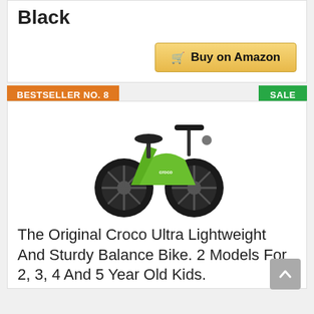Black
Buy on Amazon
BESTSELLER NO. 8
SALE
[Figure (photo): Green and black Croco Ultra Lightweight balance bike for kids, side view showing handlebars, seat, and two black wheels with green frame.]
The Original Croco Ultra Lightweight And Sturdy Balance Bike. 2 Models For 2, 3, 4 And 5 Year Old Kids.